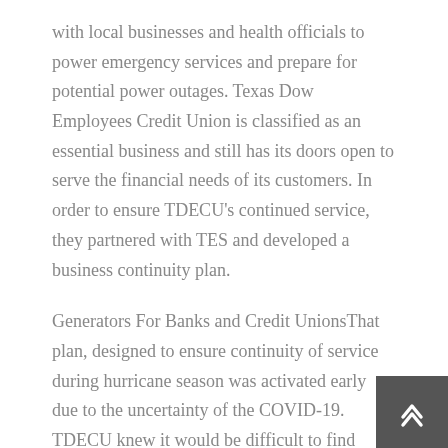with local businesses and health officials to power emergency services and prepare for potential power outages. Texas Dow Employees Credit Union is classified as an essential business and still has its doors open to serve the financial needs of its customers. In order to ensure TDECU's continued service, they partnered with TES and developed a business continuity plan.
Generators For Banks and Credit UnionsThat plan, designed to ensure continuity of service during hurricane season was activated early due to the uncertainty of the COVID-19. TDECU knew it would be difficult to find generators last minute if they became necessary, so we worked with their team to stage generators at several of their locations ahead of time to ensure the power stays on.